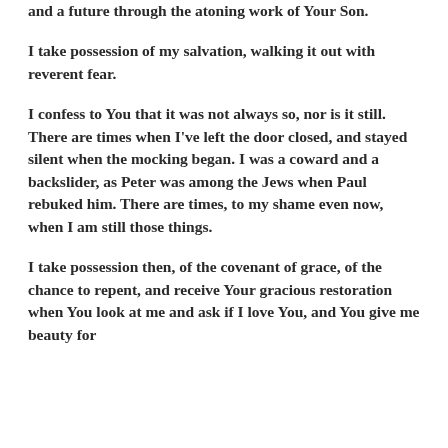and a future through the atoning work of Your Son.
I take possession of my salvation, walking it out with reverent fear.
I confess to You that it was not always so, nor is it still. There are times when I've left the door closed, and stayed silent when the mocking began. I was a coward and a backslider, as Peter was among the Jews when Paul rebuked him. There are times, to my shame even now, when I am still those things.
I take possession then, of the covenant of grace, of the chance to repent, and receive Your gracious restoration when You look at me and ask if I love You, and You give me beauty for